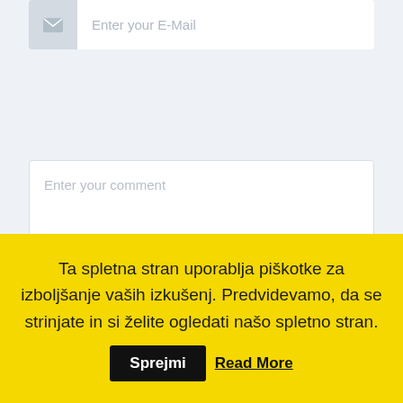[Figure (screenshot): Email input field with envelope icon on the left and placeholder text 'Enter your E-Mail']
[Figure (screenshot): Comment textarea with placeholder text 'Enter your comment' and resize handle in bottom-right corner]
[Figure (screenshot): Yellow submit button partially visible at bottom of form area]
Ta spletna stran uporablja piškotke za izboljšanje vaših izkušenj. Predvidevamo, da se strinjate in si želite ogledati našo spletno stran.
Sprejmi
Read More